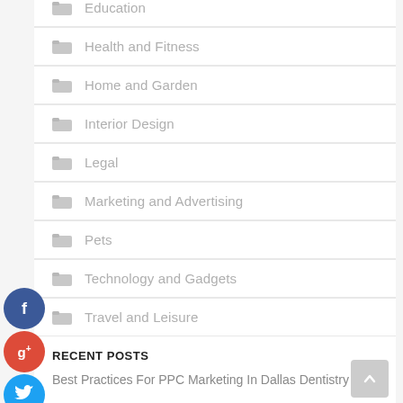Education
Health and Fitness
Home and Garden
Interior Design
Legal
Marketing and Advertising
Pets
Technology and Gadgets
Travel and Leisure
RECENT POSTS
Best Practices For PPC Marketing In Dallas Dentistry